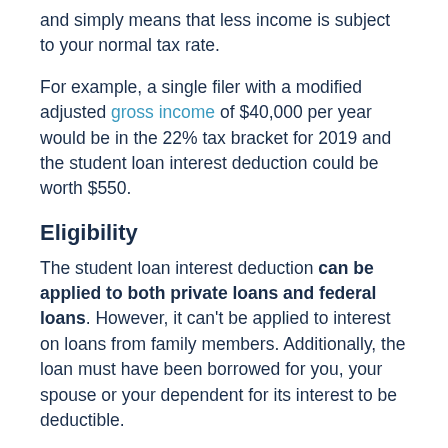and simply means that less income is subject to your normal tax rate.
For example, a single filer with a modified adjusted gross income of $40,000 per year would be in the 22% tax bracket for 2019 and the student loan interest deduction could be worth $550.
Eligibility
The student loan interest deduction can be applied to both private loans and federal loans. However, it can't be applied to interest on loans from family members. Additionally, the loan must have been borrowed for you, your spouse or your dependent for its interest to be deductible.
The IRS also requires that the loan be a qualified